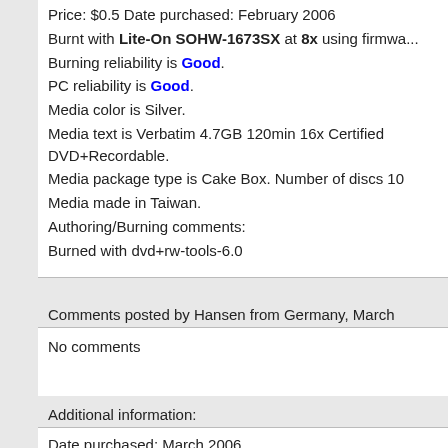Price: $0.5 Date purchased: February 2006
Burnt with Lite-On SOHW-1673SX at 8x using firmwa...
Burning reliability is Good.
PC reliability is Good.
Media color is Silver.
Media text is Verbatim 4.7GB 120min 16x Certified DVD+Recordable.
Media package type is Cake Box. Number of discs 10
Media made in Taiwan.
Authoring/Burning comments:
Burned with dvd+rw-tools-6.0
Comments posted by Hansen from Germany, March
No comments
Additional information:
Date purchased: March 2006